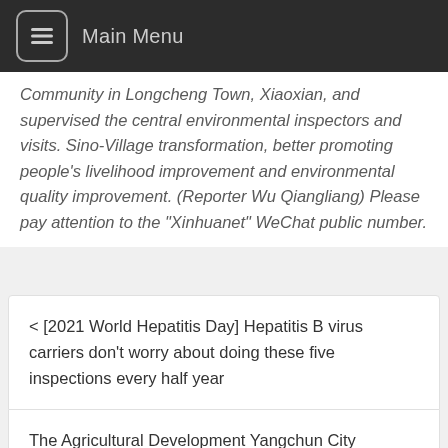Main Menu
Community in Longcheng Town, Xiaoxian, and supervised the central environmental inspectors and visits. Sino-Village transformation, better promoting people's livelihood improvement and environmental quality improvement. (Reporter Wu Qiangliang) Please pay attention to the "Xinhuanet" WeChat public number.
< [2021 World Hepatitis Day] Hepatitis B virus carriers don't worry about doing these five inspections every half year
The Agricultural Development Yangchun City Branch launched the   case as the principle, the